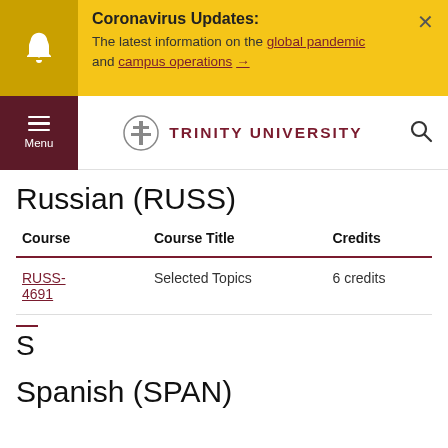Coronavirus Updates: The latest information on the global pandemic and campus operations →
[Figure (screenshot): Trinity University navigation bar with menu button, logo, and search icon]
Russian (RUSS)
| Course | Course Title | Credits |
| --- | --- | --- |
| RUSS-4691 | Selected Topics | 6 credits |
S
Spanish (SPAN)